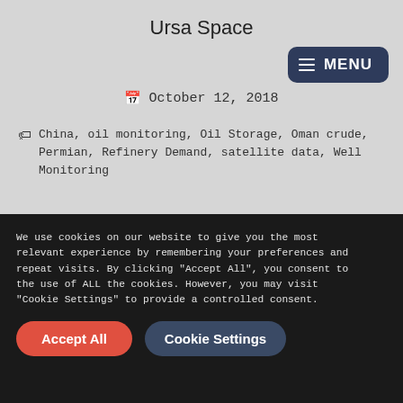Ursa Space
October 12, 2018
China, oil monitoring, Oil Storage, Oman crude, Permian, Refinery Demand, satellite data, Well Monitoring
We don't just see earth from space. We like to hit the road, meet with clients and interact with folks in the industry which is exactly what we did this week.
We use cookies on our website to give you the most relevant experience by remembering your preferences and repeat visits. By clicking "Accept All", you consent to the use of ALL the cookies. However, you may visit "Cookie Settings" to provide a controlled consent.